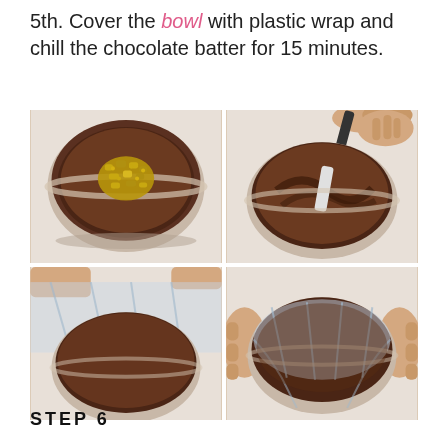5th. Cover the bowl with plastic wrap and chill the chocolate batter for 15 minutes.
[Figure (photo): Four-panel photo showing steps: top-left: bowl with chocolate batter and crushed nuts on top; top-right: spatula mixing chocolate batter in bowl; bottom-left: bowl being covered with plastic wrap; bottom-right: bowl fully covered with plastic wrap held by hands.]
STEP 6